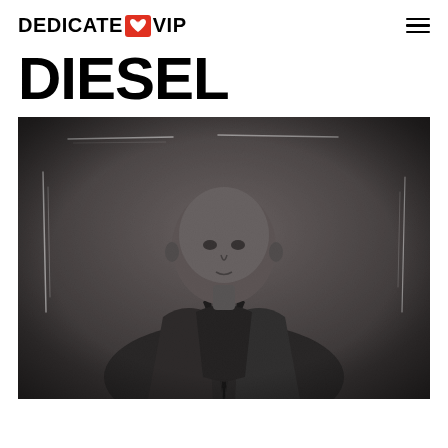DEDICATE VIP
DIESEL
[Figure (photo): Black and white portrait photograph of a bald man wearing a suit jacket and tie, seated and looking directly at the camera with a serious expression. The image has a grainy, high-contrast editorial style with scratch mark overlays on the edges.]